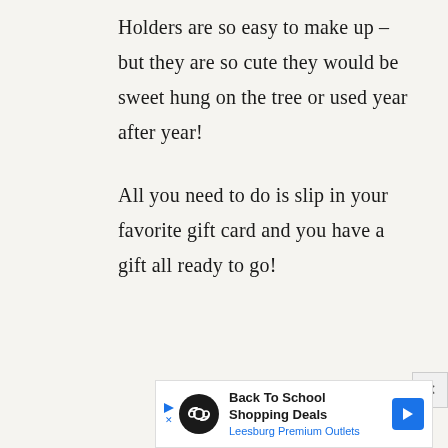Holders are so easy to make up – but they are so cute they would be sweet hung on the tree or used year after year!
All you need to do is slip in your favorite gift card and you have a gift all ready to go!
[Figure (screenshot): Advertisement banner for Back To School Shopping Deals at Leesburg Premium Outlets, with a black circular logo featuring an infinity/loop symbol, a blue diamond arrow icon, and a close (X) button in the top right corner.]